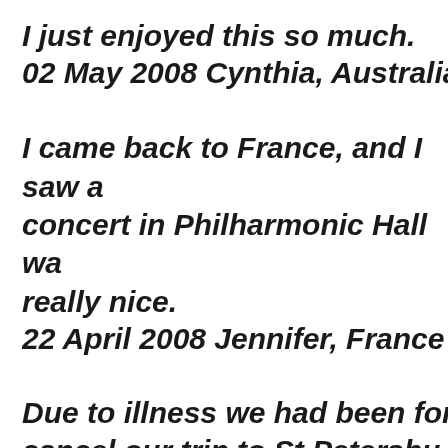I just enjoyed this so much.
02 May 2008 Cynthia, Australia
I came back to France, and I saw a concert in Philharmonic Hall was really nice.
22 April 2008 Jennifer, France
Due to illness we had been forced to cancel our trip to St Petersbu...